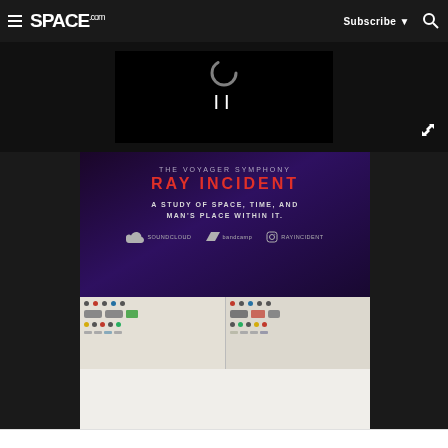SPACE.com — Subscribe | Search
[Figure (screenshot): Video player showing paused state with loading spinner and pause (II) button on black background]
[Figure (photo): Advertisement for The Voyager Symphony – Ray Incident. Text: 'THE VOYAGER SYMPHONY RAY INCIDENT A STUDY OF SPACE, TIME, AND MAN'S PLACE WITHIN IT.' with SoundCloud, Bandcamp, and Instagram (RAYINCIDENT) links on dark purple background]
[Figure (photo): Two vintage electronic equipment/synthesizer panels showing knobs, patch points and connectors on a beige/cream background]